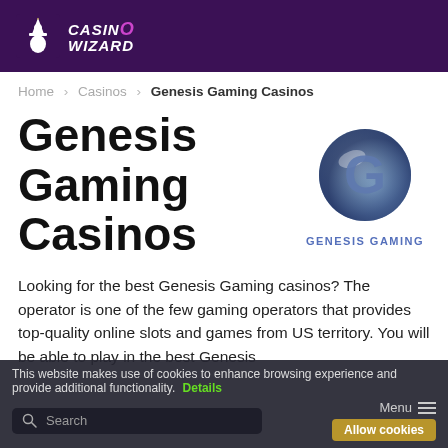Casino Wizard
Home > Casinos > Genesis Gaming Casinos
Genesis Gaming Casinos
[Figure (logo): Genesis Gaming logo — a stylized G on a metallic sphere with 'GENESIS GAMING' text below in blue]
Looking for the best Genesis Gaming casinos? The operator is one of the few gaming operators that provides top-quality online slots and games from US territory. You will be able to play in the best Genesis
This website makes use of cookies to enhance browsing experience and provide additional functionality. Details   Allow cookies